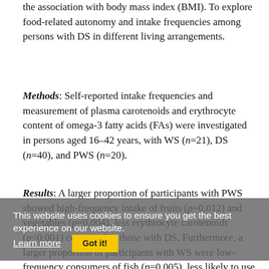the association with body mass index (BMI). To explore food-related autonomy and intake frequencies among persons with DS in different living arrangements.
Methods: Self-reported intake frequencies and measurement of plasma carotenoids and erythrocyte content of omega-3 fatty acids (FAs) were investigated in persons aged 16–42 years, with WS (n=21), DS (n=40), and PWS (n=20).
Results: A larger proportion of participants with PWS showed high-frequency intake of fruits (p=0.012) and vegetables (p=0.004), less erythrocyte carotenoids (p<0.001) compared to those with DS. Furthermore, a larger proportion of participants with WS were low-frequency consumers of fish (p=0.005), less likely to use omega-3 FA supplements (p=0.023), and had reduced erythrocyte concentrations of long-chain omega-3 FAs (p<0.001), compared to participants with PWS and DS. In DS, BMI was